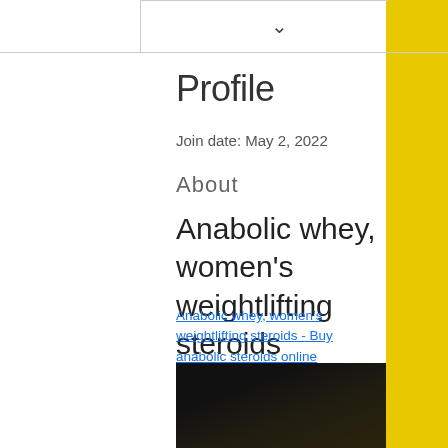Profile
Join date: May 2, 2022
About
Anabolic whey, women's weightlifting steroids
Anabolic whey, women's weightlifting steroids - Buy anabolic steroids online
[Figure (photo): Dark blurred photo, partially visible at bottom of page]